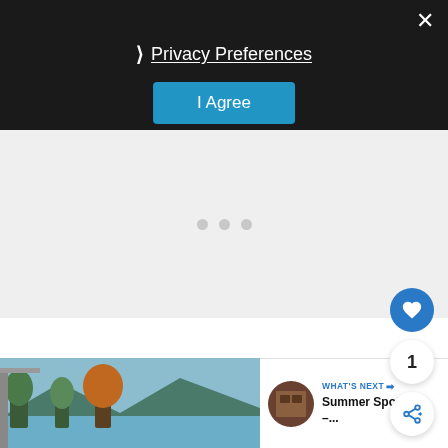× (close button)
❯ Privacy Preferences
I Agree
[Figure (other): Loading placeholder area with three gray dots indicating content loading]
[Figure (photo): Blue circle heart/like button floating action button]
1
[Figure (other): White circle share button floating action button]
[Figure (photo): Outdoor lakeside nature photo showing trees, mountains, and water]
WHAT'S NEXT → Summer Spotlight –...